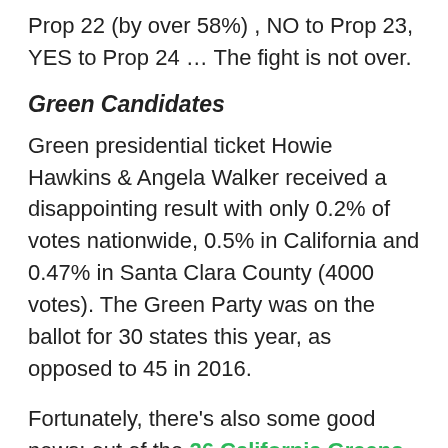Prop 22 (by over 58%) , NO to Prop 23, YES to Prop 24 … The fight is not over.
Green Candidates
Green presidential ticket Howie Hawkins & Angela Walker received a disappointing result with only 0.2% of votes nationwide, 0.5% in California and 0.47% in Santa Clara County (4000 votes). The Green Party was on the ballot for 30 states this year, as opposed to 45 in 2016.
Fortunately, there's also some good news: out of the 26 California Greens who ran in 2020, at least nine Green candidates have won their race!! Most notably, Emmanuel Estrada, 26 years old, was elected Mayor of Baldwin Park (Los Angeles County)! Listen to Emmanuel's interview on Rising Up With Sonali and learn more about CA races.